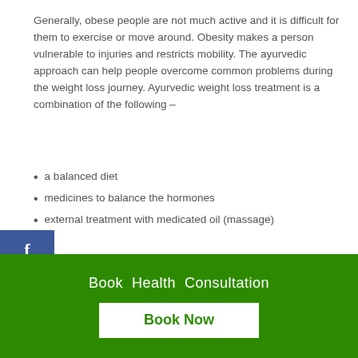Generally, obese people are not much active and it is difficult for them to exercise or move around. Obesity makes a person vulnerable to injuries and restricts mobility. The ayurvedic approach can help people overcome common problems during the weight loss journey. Ayurvedic weight loss treatment is a combination of the following –
a balanced diet
medicines to balance the hormones
external treatment with medicated oil (massage)
Ayurvedic medicines are effective in mobilizing the stored fats and balancing the hormones. reduces insulin resistance and controls the overproduction of insulin. Ayurvedic medicines along with a proper diet can prevent hunger pangs and without much effort, you are able to
Book Health Consultation
Book Now